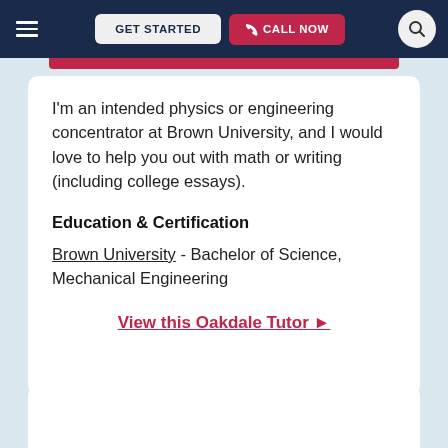GET STARTED   CALL NOW
I'm an intended physics or engineering concentrator at Brown University, and I would love to help you out with math or writing (including college essays).
Education & Certification
Brown University - Bachelor of Science, Mechanical Engineering
View this Oakdale Tutor ▶